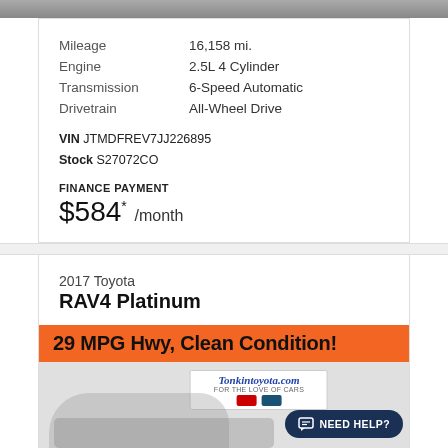[Figure (photo): Top strip of a car photo, partially visible]
| Mileage | 16,158 mi. |
| Engine | 2.5L 4 Cylinder |
| Transmission | 6-Speed Automatic |
| Drivetrain | All-Wheel Drive |
VIN JTMDFREV7JJ226895
Stock S27072CO
FINANCE PAYMENT
$584* /month
2017 Toyota
RAV4 Platinum
[Figure (infographic): Orange banner reading '29 MPG Hwy, Clean Condition!']
[Figure (photo): Photo of 2017 Toyota RAV4 Platinum at dealership with Tonkin Toyota dealer sign and NEED HELP? button]